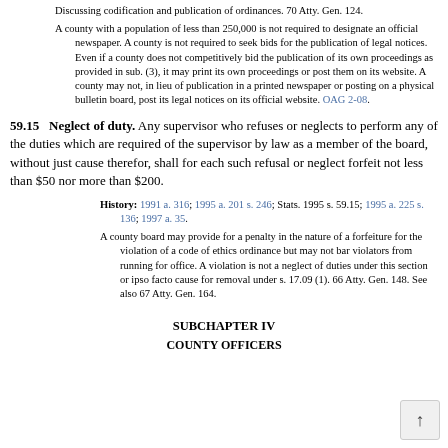Discussing codification and publication of ordinances. 70 Atty. Gen. 124.
A county with a population of less than 250,000 is not required to designate an official newspaper. A county is not required to seek bids for the publication of legal notices. Even if a county does not competitively bid the publication of its own proceedings as provided in sub. (3), it may print its own proceedings or post them on its website. A county may not, in lieu of publication in a printed newspaper or posting on a physical bulletin board, post its legal notices on its official website. OAG 2-08.
59.15 Neglect of duty.
Any supervisor who refuses or neglects to perform any of the duties which are required of the supervisor by law as a member of the board, without just cause therefor, shall for each such refusal or neglect forfeit not less than $50 nor more than $200.
History: 1991 a. 316; 1995 a. 201 s. 246; Stats. 1995 s. 59.15; 1995 a. 225 s. 136; 1997 a. 35.
A county board may provide for a penalty in the nature of a forfeiture for the violation of a code of ethics ordinance but may not bar violators from running for office. A violation is not a neglect of duties under this section or ipso facto cause for removal under s. 17.09 (1). 66 Atty. Gen. 148. See also 67 Atty. Gen. 164.
SUBCHAPTER IV
COUNTY OFFICERS